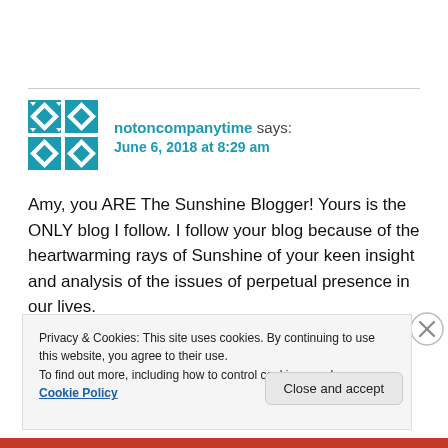[Figure (illustration): Decorative geometric avatar icon in teal/blue tones with diamond and arrow shapes]
notoncompanytime says:
June 6, 2018 at 8:29 am
Amy, you ARE The Sunshine Blogger! Yours is the ONLY blog I follow. I follow your blog because of the heartwarming rays of Sunshine of your keen insight and analysis of the issues of perpetual presence in our lives.
I frown at the administrators of The Sunshine Blogger
Privacy & Cookies: This site uses cookies. By continuing to use this website, you agree to their use.
To find out more, including how to control cookies, see here: Cookie Policy
Close and accept